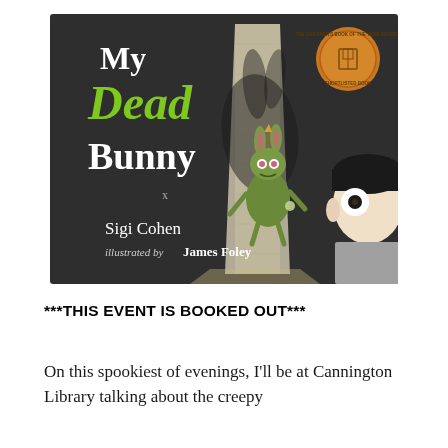[Figure (illustration): Book cover of 'My Dead Bunny' by Sigi Cohen, illustrated by James Foley. Dark grey background with the title text 'My Dead Bunny' in white and green letters. A cartoon zombie bunny in the center illuminated by a doorway. A child's face peers from the right. A gold award medallion in the top right reads 'Children's Book of the Year Awards – Shortlisted Book'.]
***THIS EVENT IS BOOKED OUT***
On this spookiest of evenings, I'll be at Cannington Library talking about the creepy